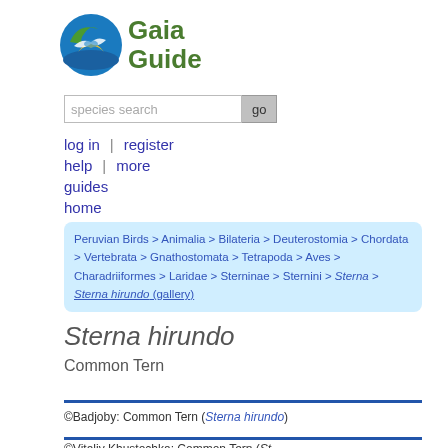[Figure (logo): Gaia Guide logo: circular icon with bird/fish and wave design in green, gold, and blue, with 'Gaia Guide' text in green beside it]
species search  go
log in  |  register
help  |  more
guides
home
Peruvian Birds > Animalia > Bilateria > Deuterostomia > Chordata > Vertebrata > Gnathostomata > Tetrapoda > Aves > Charadriiformes > Laridae > Sterninae > Sternini > Sterna > Sterna hirundo (gallery)
Sterna hirundo
Common Tern
©Badjoby: Common Tern (Sterna hirundo)
©Vitaliy Khustochka: Common Tern (St…